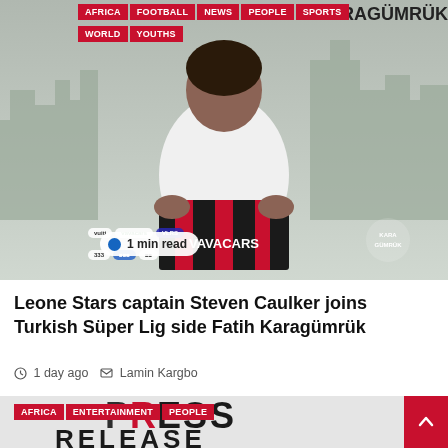[Figure (photo): A footballer holding a black and red Fatih Karagümrük jersey with VAVACARS sponsor, standing against a grey city skyline background. Navigation tags: AFRICA, FOOTBALL, NEWS, PEOPLE, SPORTS, WORLD, YOUTHS overlaid at top. '1 min read' badge overlaid at bottom left.]
Leone Stars captain Steven Caulker joins Turkish Süper Lig side Fatih Karagümrük
1 day ago  Lamin Kargbo
[Figure (photo): Press Release styled graphic with large text 'PRESS RELEASE' in black with red accents. Navigation tags: AFRICA, ENTERTAINMENT, PEOPLE overlaid.]